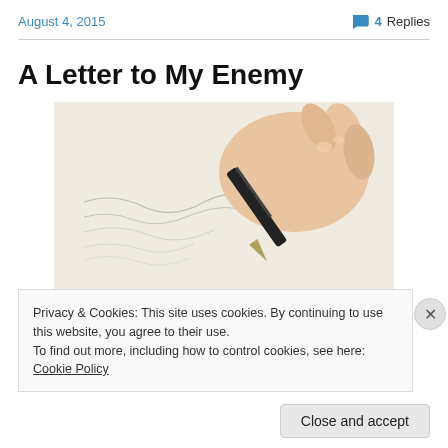August 4, 2015   💬 4 Replies
A Letter to My Enemy
[Figure (photo): A hand holding a fountain pen writing cursive text on paper]
Privacy & Cookies: This site uses cookies. By continuing to use this website, you agree to their use.
To find out more, including how to control cookies, see here: Cookie Policy